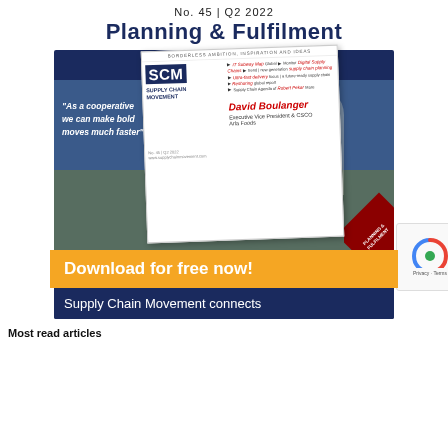No. 45 | Q2 2022
Planning & Fulfilment
[Figure (infographic): Supply Chain Movement magazine advertisement showing magazine cover with David Boulanger, Executive VP & CSCO of Arla Foods, quote 'As a cooperative we can make bold moves much faster', orange Download for free now! banner, and tagline 'Supply Chain Movement connects']
Most read articles